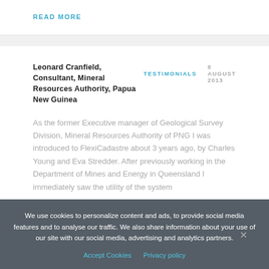READ MORE
Leonard Cranfield, Consultant, Mineral Resources Authority, Papua New Guinea
TESTIMONIALS   8 AUGUST 2013
As the former Executive manager of Geological Survey Division, Mineral Resources Authority of PNG I was introduced to FlexiCadastre about 3 years ago, by Charles Young and Eva Stredder. After previously working in the Department of Mines and Energy in Queensland I immediately saw the utility of the system
We use cookies to personalize content and ads, to provide social media features and to analyse our traffic. We also share information about your use of our site with our social media, advertising and analytics partners.
Accept Cookies   Privacy policy